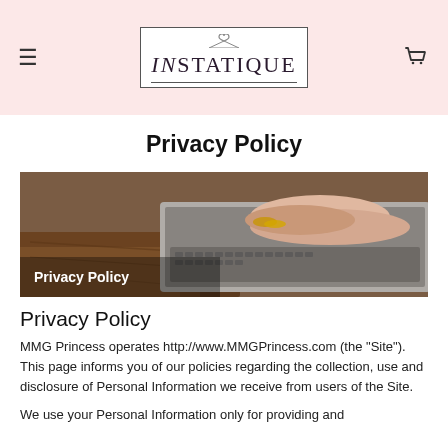INSTATIQUE
Privacy Policy
[Figure (photo): Person typing on a laptop at a wooden desk, with text overlay 'Privacy Policy' in white bold font at bottom left.]
Privacy Policy
MMG Princess operates http://www.MMGPrincess.com (the "Site"). This page informs you of our policies regarding the collection, use and disclosure of Personal Information we receive from users of the Site.
We use your Personal Information only for providing and